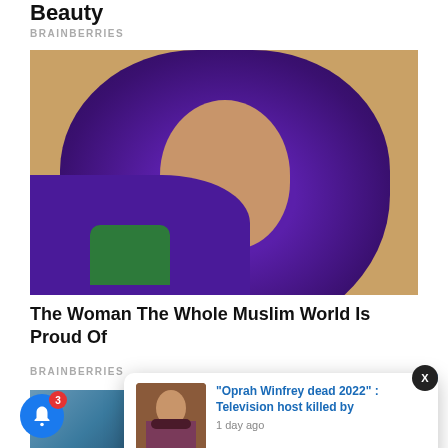Beauty
BRAINBERRIES
[Figure (photo): Portrait of a young woman wearing a purple hijab and green garment, standing outdoors with a wooden building behind her.]
The Woman The Whole Muslim World Is Proud Of
BRAINBERRIES
[Figure (photo): Partially visible photo at the bottom of the page.]
[Figure (photo): Notification popup with thumbnail image of a woman in a dark outfit, headline reading: "Oprah Winfrey dead 2022" : Television host killed by, timestamp: 1 day ago]